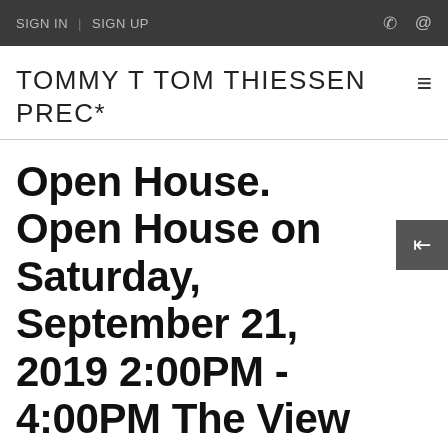SIGN IN | SIGN UP
TOMMY T TOM THIESSEN PREC*
Open House. Open House on Saturday, September 21, 2019 2:00PM - 4:00PM The View You Have Dreamed About! Amazing 180